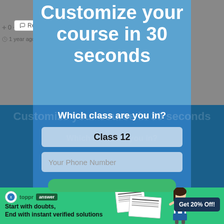+ 0 −
Reply
1 year ago
Customize your course in 30 seconds
Customize your course in 30 seconds
Which class are you in?
Which class are you in?
Class 12
Your Phone Number
[Figure (screenshot): Green button partially visible at bottom of modal]
[Figure (infographic): Toppr Answer banner: green background with logo, text 'Start with doubts, End with instant verified solutions', paper snippets illustration, girl student, 'Get 20% Off!' button]